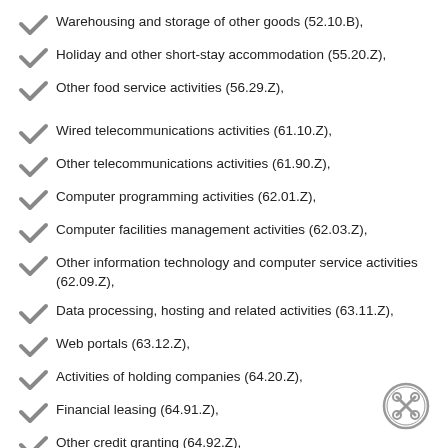Warehousing and storage of other goods (52.10.B),
Holiday and other short-stay accommodation (55.20.Z),
Other food service activities (56.29.Z),
Wired telecommunications activities (61.10.Z),
Other telecommunications activities (61.90.Z),
Computer programming activities (62.01.Z),
Computer facilities management activities (62.03.Z),
Other information technology and computer service activities (62.09.Z),
Data processing, hosting and related activities (63.11.Z),
Web portals (63.12.Z),
Activities of holding companies (64.20.Z),
Financial leasing (64.91.Z),
Other credit granting (64.92.Z),
Other financial service activities, except insurance and pension,